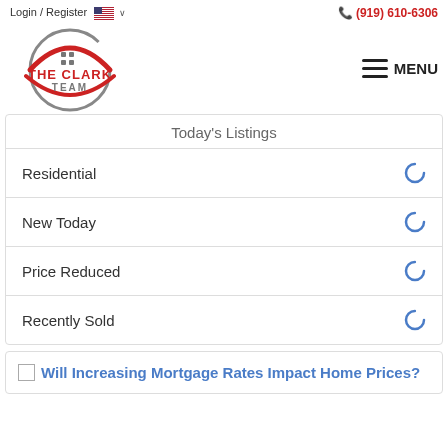Login / Register  🇺🇸 ∨   (919) 610-6306
[Figure (logo): The Clark Team real estate logo — circular design with red roof/house shape, gray text 'THE CLARK TEAM' in the center]
MENU
Today's Listings
Residential
New Today
Price Reduced
Recently Sold
[Figure (illustration): Broken image placeholder icon followed by link text: Will Increasing Mortgage Rates Impact Home Prices?]